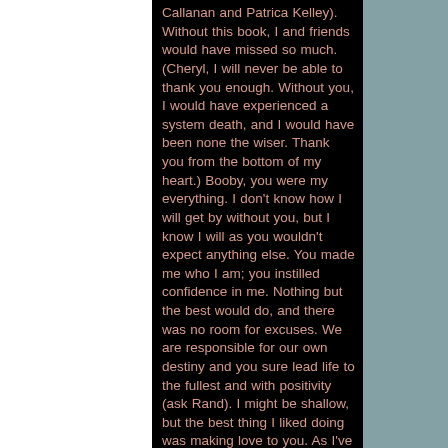Callanan and Patrica Kelley). Without this book, I and friends would have missed so much. (Cheryl, I will never be able to thank you enough. Without you, I would have experienced a system death, and I would have been none the wiser. Thank you from the bottom of my heart.) Booby, you were my everything. I don't know how I will get by without you, but I know I will as you wouldn't expect anything else. You made me who I am; you instilled confidence in me. Nothing but the best would do, and there was no room for excuses. We are responsible for our own destiny and you sure lead life to the fullest and with positivity (ask Rand). I might be shallow, but the best thing I liked doing was making love to you. As I've already said, you were "one hell of a